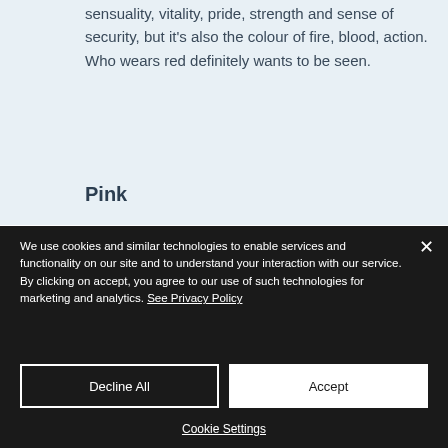sensuality, vitality, pride, strength and sense of security, but it's also the colour of fire, blood, action. Who wears red definitely wants to be seen.
Pink
We use cookies and similar technologies to enable services and functionality on our site and to understand your interaction with our service. By clicking on accept, you agree to our use of such technologies for marketing and analytics. See Privacy Policy
Decline All
Accept
Cookie Settings